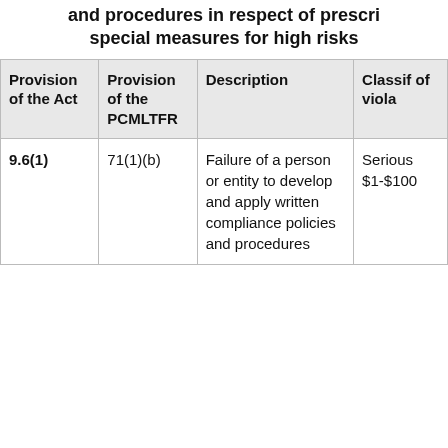and procedures in respect of prescri special measures for high risks
| Provision of the Act | Provision of the PCMLTFR | Description | Classif of viola |
| --- | --- | --- | --- |
| 9.6(1) | 71(1)(b) | Failure of a person or entity to develop and apply written compliance policies and procedures | Serious $1-$100 |